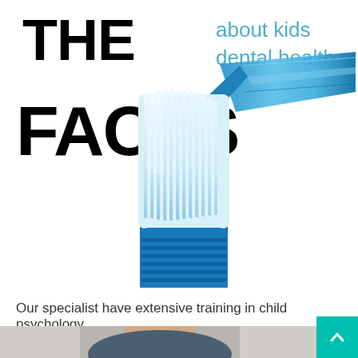THE FACTS about kids dental health
[Figure (illustration): A blue toothbrush with white bristles, photographed at a diagonal angle against a white background. The toothbrush has a translucent blue plastic handle and brush head with dense white bristles.]
Our specialist have extensive training in child psychology
[Figure (photo): Partial view of a person (doctor/specialist) in a clinical setting, only the upper portion visible at the bottom of the page.]